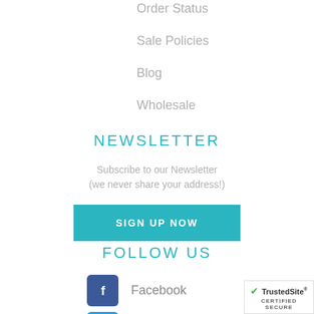Order Status
Sale Policies
Blog
Wholesale
NEWSLETTER
Subscribe to our Newsletter (we never share your address!)
SIGN UP NOW
FOLLOW US
Facebook
Twitter
[Figure (logo): TrustedSite CERTIFIED SECURE badge]